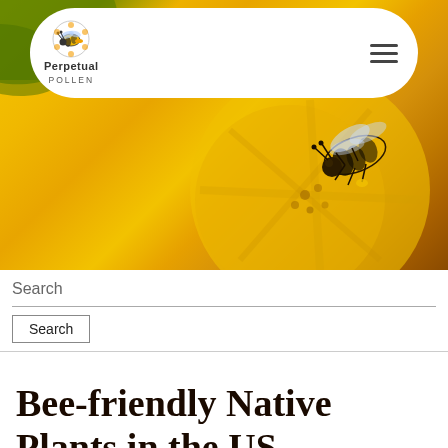[Figure (photo): Hero photo of a bee on a bright yellow flower, with green foliage visible. Navigation bar overlaid on top with Perpetual Pollen logo and hamburger menu icon.]
Search
Search
Bee-friendly Native Plants in the US